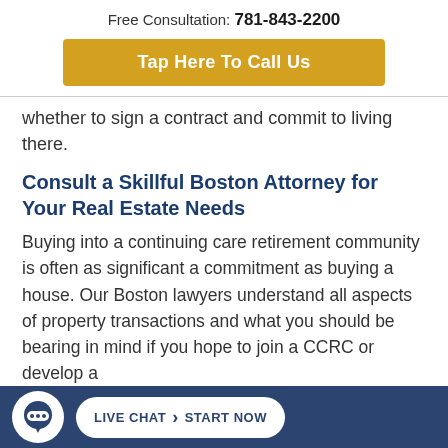Free Consultation: 781-843-2200
[Figure (other): Golden 'Tap Here To Call Us' button]
whether to sign a contract and commit to living there.
Consult a Skillful Boston Attorney for Your Real Estate Needs
Buying into a continuing care retirement community is often as significant a commitment as buying a house. Our Boston lawyers understand all aspects of property transactions and what you should be bearing in mind if you hope to join a CCRC or develop a
[Figure (other): Live Chat Start Now footer bar with chat icon]